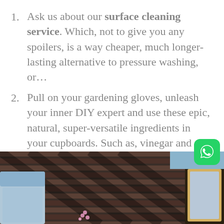Ask us about our surface cleaning service. Which, not to give you any spoilers, is a way cheaper, much longer-lasting alternative to pressure washing, or…
Pull on your gardening gloves, unleash your inner DIY expert and use these epic, natural, super-versatile ingredients in your cupboards. Such as, vinegar and baking soda, to tackle your mould or mildew problem.
[Figure (photo): Outdoor patio furniture with blue cushioned chairs and a wooden slatted bench/table, photographed from above at an angle with sunlight creating shadows.]